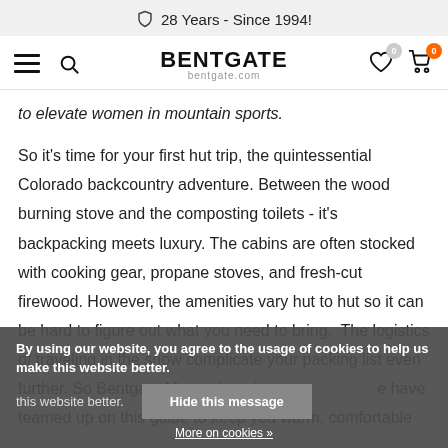28 Years - Since 1994!
BENTGATE bentgate.com
to elevate women in mountain sports.
So it's time for your first hut trip, the quintessential Colorado backcountry adventure. Between the wood burning stove and the composting toilets - it's backpacking meets luxury. The cabins are often stocked with cooking gear, propane stoves, and fresh-cut firewood. However, the amenities vary hut to hut so it can be hard to figure out what you need to bring. The logistics of traveling in the snow complicate your packing list even further. So Bentgate Mountaineering have teamed up on this guide to keep you warm, comfortable
By using our website, you agree to the usage of cookies to help us make this website better.
Hide this message
More on cookies »